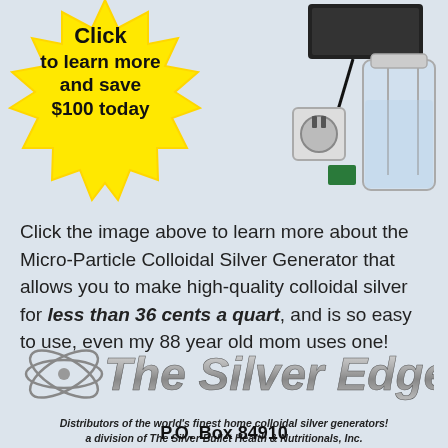[Figure (other): Yellow starburst badge with bold black text reading 'Click to learn more and save $100 today']
[Figure (photo): Photo of a Micro-Particle Colloidal Silver Generator device with a jar and accessories]
Click the image above to learn more about the Micro-Particle Colloidal Silver Generator that allows you to make high-quality colloidal silver for less than 36 cents a quart, and is so easy to use, even my 88 year old mom uses one!
[Figure (logo): The Silver Edge logo with atom graphic and text 'The Silver Edge']
Distributors of the world's finest home colloidal silver generators! a division of The Silver Bullet Health & Nutritionals, Inc.
P.O. Box 84910